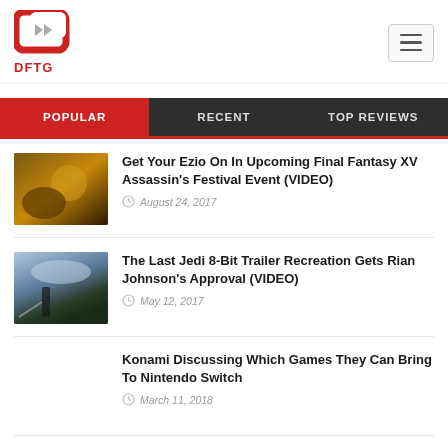DFTG
POPULAR | RECENT | TOP REVIEWS
Get Your Ezio On In Upcoming Final Fantasy XV Assassin's Festival Event (VIDEO) — August 24, 2017
The Last Jedi 8-Bit Trailer Recreation Gets Rian Johnson's Approval (VIDEO) — May 12, 2017
Konami Discussing Which Games They Can Bring To Nintendo Switch — March 11, 2018
The Venture Bros. Announces Series Premiere Of